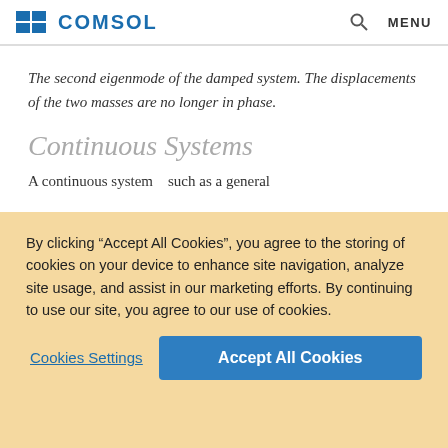COMSOL
The second eigenmode of the damped system. The displacements of the two masses are no longer in phase.
Continuous Systems
A continuous system… such as a general
By clicking “Accept All Cookies”, you agree to the storing of cookies on your device to enhance site navigation, analyze site usage, and assist in our marketing efforts. By continuing to use our site, you agree to our use of cookies.
Cookies Settings
Accept All Cookies